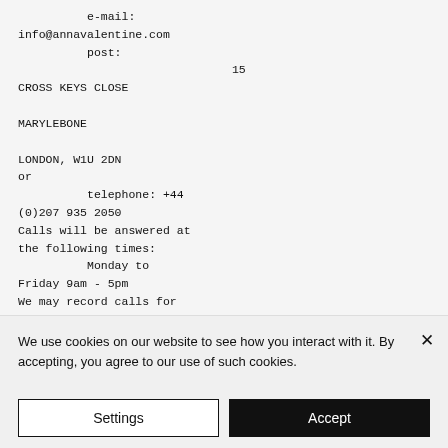e-mail:
info@annavalentine.com
post:                    15
CROSS KEYS CLOSE

MARYLEBONE

LONDON, W1U 2DN
or
              telephone: +44
(0)207 935 2050
Calls will be answered at
the following times:
              Monday to
Friday 9am - 5pm
We may record calls for
quality and training
purposes.
We use cookies on our website to see how you interact with it. By accepting, you agree to our use of such cookies.
Settings
Accept